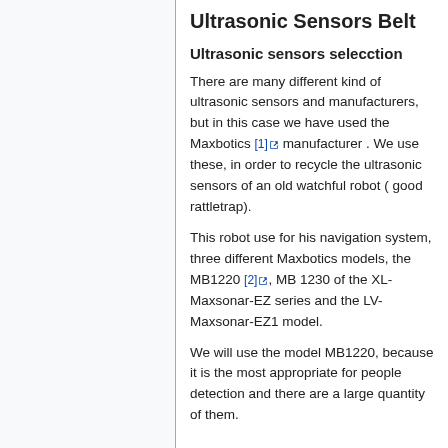Ultrasonic Sensors Belt
Ultrasonic sensors selecction
There are many different kind of ultrasonic sensors and manufacturers, but in this case we have used the Maxbotics [1] manufacturer . We use these, in order to recycle the ultrasonic sensors of an old watchful robot ( good rattletrap).
This robot use for his navigation system, three different Maxbotics models, the MB1220 [2], MB 1230 of the XL-Maxsonar-EZ series and the LV-Maxsonar-EZ1 model.
We will use the model MB1220, because it is the most appropriate for people detection and there are a large quantity of them.